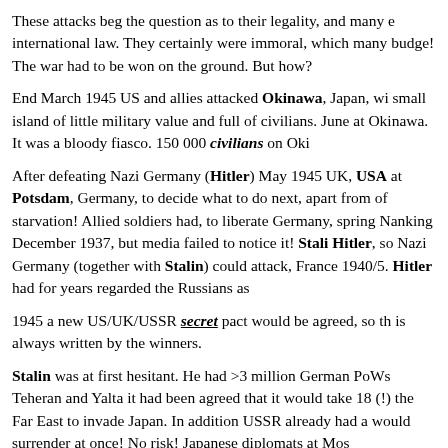These attacks beg the question as to their legality, and many e international law. They certainly were immoral, which many budge! The war had to be won on the ground. But how?
End March 1945 US and allies attacked Okinawa, Japan, wi small island of little military value and full of civilians. June at Okinawa. It was a bloody fiasco. 150 000 civilians on Oki
After defeating Nazi Germany (Hitler) May 1945 UK, USA at Potsdam, Germany, to decide what to do next, apart from of starvation! Allied soldiers had, to liberate Germany, spring Nanking December 1937, but media failed to notice it! Stali Hitler, so Nazi Germany (together with Stalin) could attack, France 1940/5. Hitler had for years regarded the Russians as
1945 a new US/UK/USSR secret pact would be agreed, so th is always written by the winners.
Stalin was at first hesitant. He had >3 million German PoWs Teheran and Yalta it had been agreed that it would take 18 (!) the Far East to invade Japan. In addition USSR already had a would surrender at once! No risk! Japanese diplomats at Mos